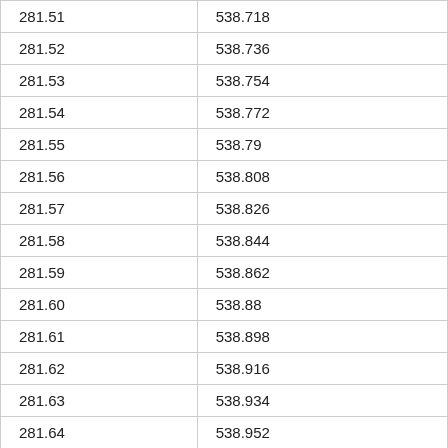| 281.51 | 538.718 |
| 281.52 | 538.736 |
| 281.53 | 538.754 |
| 281.54 | 538.772 |
| 281.55 | 538.79 |
| 281.56 | 538.808 |
| 281.57 | 538.826 |
| 281.58 | 538.844 |
| 281.59 | 538.862 |
| 281.60 | 538.88 |
| 281.61 | 538.898 |
| 281.62 | 538.916 |
| 281.63 | 538.934 |
| 281.64 | 538.952 |
| 281.65 | 538.97 |
| 281.66 | 538.988 |